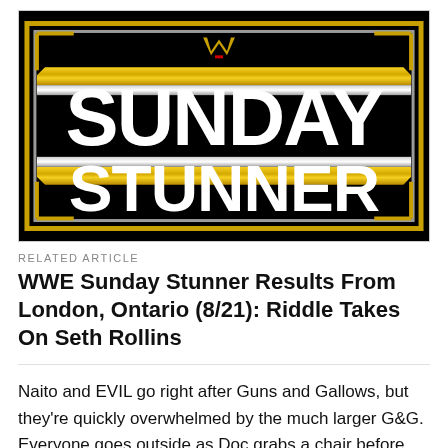[Figure (logo): WWE Sunday Stunner event logo — black background with gold and silver bordered rectangles, large white text reading SUNDAY on top and STUNNER on bottom, with the WWE logo (stylized W) at the top center in gold and red.]
RELATED ARTICLE
WWE Sunday Stunner Results From London, Ontario (8/21): Riddle Takes On Seth Rollins
Naito and EVIL go right after Guns and Gallows, but they're quickly overwhelmed by the much larger G&G. Everyone goes outside as Doc grabs a chair before throwing EVIL into the railing while Naito and Karl are way out in the crowd, Karl throwing Naito out of the door as he comes back to the ring,